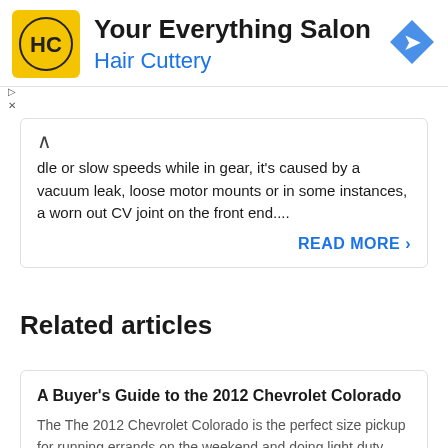[Figure (logo): Hair Cuttery ad banner with HC logo on yellow background, blue navigation arrow icon, title 'Your Everything Salon' and subtitle 'Hair Cuttery']
dle or slow speeds while in gear, it's caused by a vacuum leak, loose motor mounts or in some instances, a worn out CV joint on the front end....
READ MORE >
Related articles
A Buyer's Guide to the 2012 Chevrolet Colorado
The The 2012 Chevrolet Colorado is the perfect size pickup for running errands on the weekend and doing light duty chores around the yard. For those who don't need a full size pickup, the Colorado offers almost everything a full